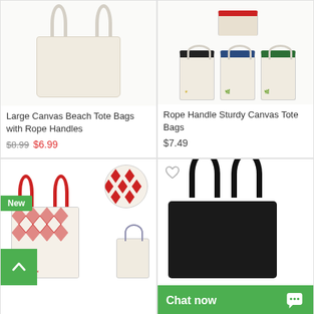[Figure (photo): Large canvas beach tote bag with thick rope handles, cream/beige color]
Large Canvas Beach Tote Bags with Rope Handles
$8.99  $6.99
[Figure (photo): Multiple rope handle sturdy canvas tote bags in different color stripe variations (black, navy, green) with a red-trimmed bag on top]
Rope Handle Sturdy Canvas Tote Bags
$7.49
[Figure (photo): Patterned canvas tote bags with red handles, red diamond/lattice pattern, showing Nine Lives Fashion logo cat design. New badge visible. Pattern circle detail shown.]
[Figure (photo): Black leather-look tote bag with black handles, heart/wishlist icon visible]